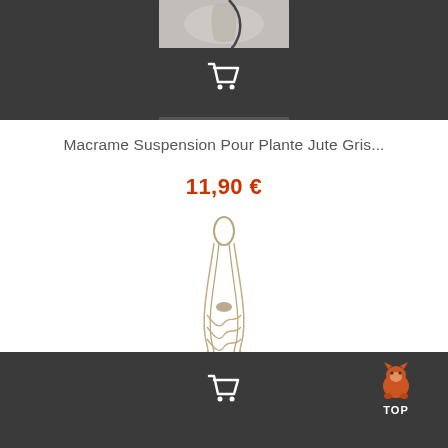[Figure (screenshot): Dark top navigation bar with a white shopping cart icon and a partial product image visible at top]
Macrame Suspension Pour Plante Jute Gris...
11,90 €
[Figure (photo): A jute macrame plant hanger suspension with twisted rope strands forming a loop at top and braided body]
[Figure (screenshot): Dark bottom navigation bar with a white shopping cart icon and a TOP button with fox/animal icon]